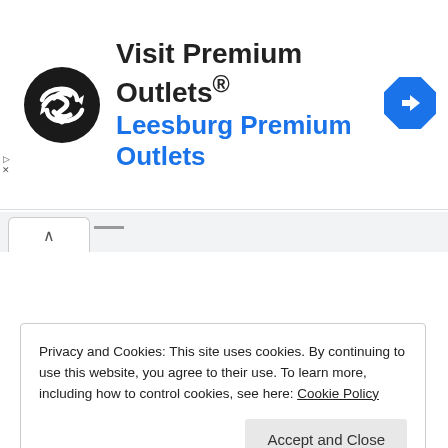[Figure (screenshot): Advertisement banner for Visit Premium Outlets / Leesburg Premium Outlets with black circular logo with white arrows and a blue diamond navigation arrow icon]
[Figure (screenshot): Browser tab bar with a caret/up-arrow tab control]
Privacy and Cookies: This site uses cookies. By continuing to use this website, you agree to their use. To learn more, including how to control cookies, see here: Cookie Policy
Accept and Close